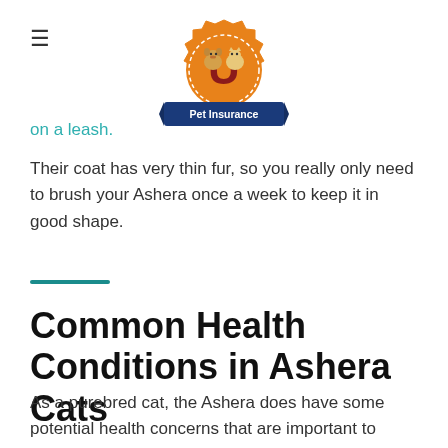[Figure (logo): U Pet Insurance logo: orange gear/seal shape with a large red U letter, cartoon dog and cat peeking over, blue ribbon banner reading 'Pet Insurance']
on a leash.
Their coat has very thin fur, so you really only need to brush your Ashera once a week to keep it in good shape.
Common Health Conditions in Ashera Cats
As a purebred cat, the Ashera does have some potential health concerns that are important to know upfront: